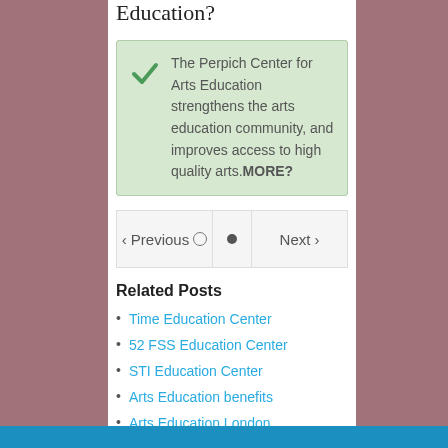Education?
The Perpich Center for Arts Education strengthens the arts education community, and improves access to high quality arts.MORE?
Related Posts
Time Education Center
52 FSS Education Center
STI Education Center
Arts Education benefits
Arts Education London